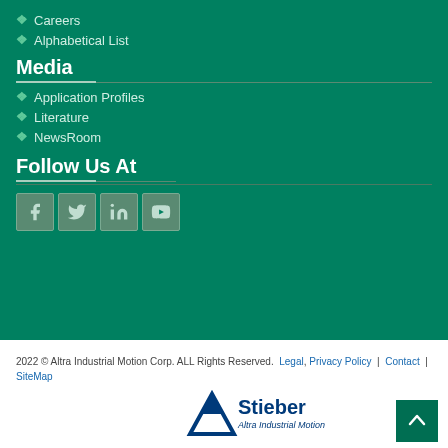Careers
Alphabetical List
Media
Application Profiles
Literature
NewsRoom
Follow Us At
[Figure (other): Social media icons: Facebook, Twitter, LinkedIn, YouTube]
2022 © Altra Industrial Motion Corp. ALL Rights Reserved. Legal, Privacy Policy | Contact | SiteMap
[Figure (logo): Stieber Altra Industrial Motion logo]